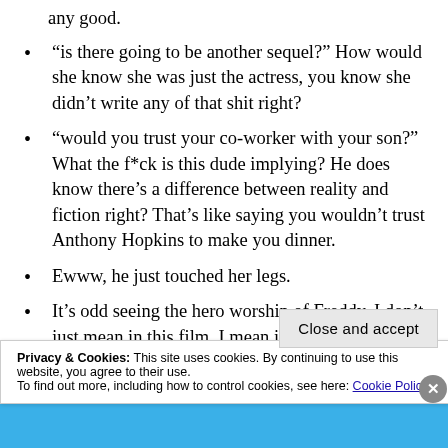any good.
“is there going to be another sequel?” How would she know she was just the actress, you know she didn’t write any of that shit right?
“would you trust your co-worker with your son?” What the f*ck is this dude implying? He does know there’s a difference between reality and fiction right? That’s like saying you wouldn’t trust Anthony Hopkins to make you dinner.
Ewww, he just touched her legs.
It’s odd seeing the hero worship of Freddy, I don’t just mean in this film, I mean in real life, There
Privacy & Cookies: This site uses cookies. By continuing to use this website, you agree to their use.
To find out more, including how to control cookies, see here: Cookie Policy
Close and accept